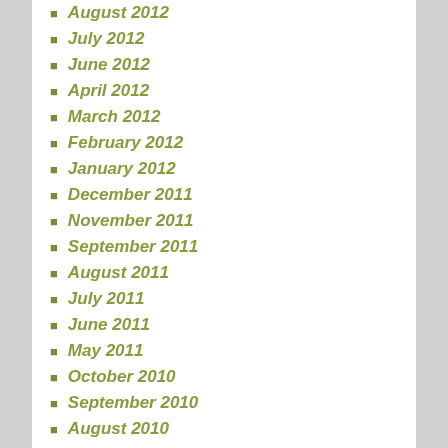August 2012
July 2012
June 2012
April 2012
March 2012
February 2012
January 2012
December 2011
November 2011
September 2011
August 2011
July 2011
June 2011
May 2011
October 2010
September 2010
August 2010
July 2010
June 2010
May 2010
January 2010